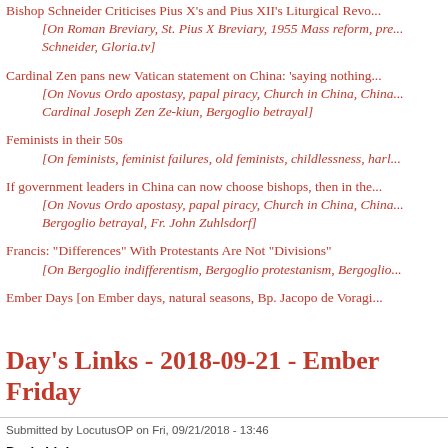Bishop Schneider Criticises Pius X's and Pius XII's Liturgical Revo...
[On Roman Breviary, St. Pius X Breviary, 1955 Mass reform, pre... Schneider, Gloria.tv]
Cardinal Zen pans new Vatican statement on China: 'saying nothing...
[On Novus Ordo apostasy, papal piracy, Church in China, China... Cardinal Joseph Zen Ze-kiun, Bergoglio betrayal]
Feminists in their 50s
[On feminists, feminist failures, old feminists, childlessness, harlo...]
If government leaders in China can now choose bishops, then in the...
[On Novus Ordo apostasy, papal piracy, Church in China, China... Bergoglio betrayal, Fr. John Zuhlsdorf]
Francis: "Differences" With Protestants Are Not "Divisions"
[On Bergoglio indifferentism, Bergoglio protestanism, Bergoglio...]
Ember Days [on Ember days, natural seasons, Bp. Jacopo de Voragi...]
Day's Links - 2018-09-21 - Ember Friday
Submitted by LocutusOP on Fri, 09/21/2018 - 13:46
Day's Links:
Those Terrible Middle Ages...